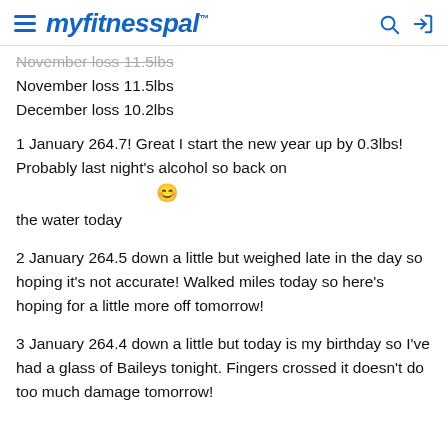myfitnesspal
November loss 11.5lbs
December loss 10.2lbs
1 January 264.7! Great I start the new year up by 0.3lbs! Probably last night's alcohol so back on the water today 😊
2 January 264.5 down a little but weighed late in the day so hoping it's not accurate! Walked miles today so here's hoping for a little more off tomorrow!
3 January 264.4 down a little but today is my birthday so I've had a glass of Baileys tonight. Fingers crossed it doesn't do too much damage tomorrow!